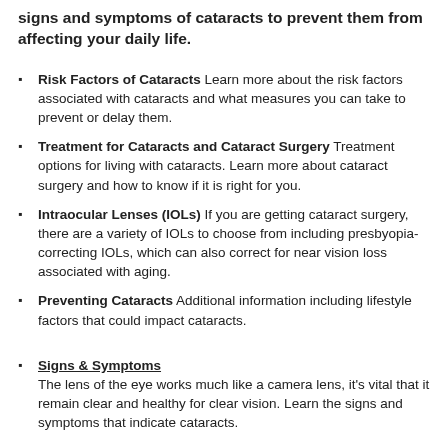signs and symptoms of cataracts to prevent them from affecting your daily life.
Risk Factors of Cataracts Learn more about the risk factors associated with cataracts and what measures you can take to prevent or delay them.
Treatment for Cataracts and Cataract Surgery Treatment options for living with cataracts. Learn more about cataract surgery and how to know if it is right for you.
Intraocular Lenses (IOLs) If you are getting cataract surgery, there are a variety of IOLs to choose from including presbyopia-correcting IOLs, which can also correct for near vision loss associated with aging.
Preventing Cataracts Additional information including lifestyle factors that could impact cataracts.
Signs & Symptoms The lens of the eye works much like a camera lens, it's vital that it remain clear and healthy for clear vision. Learn the signs and symptoms that indicate cataracts.